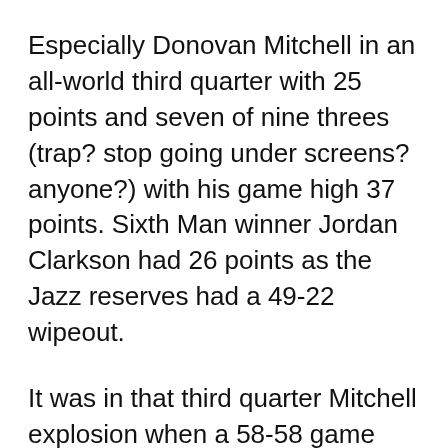Especially Donovan Mitchell in an all-world third quarter with 25 points and seven of nine threes (trap? stop going under screens? anyone?) with his game high 37 points. Sixth Man winner Jordan Clarkson had 26 points as the Jazz reserves had a 49-22 wipeout.
It was in that third quarter Mitchell explosion when a 58-58 game with 8:27 to go turned in the Jazz' favor. DeRozan had his best run late in the quarter to keep the game in striking distance with four consecutive baskets. Utah had 88-84 entering the fourth...